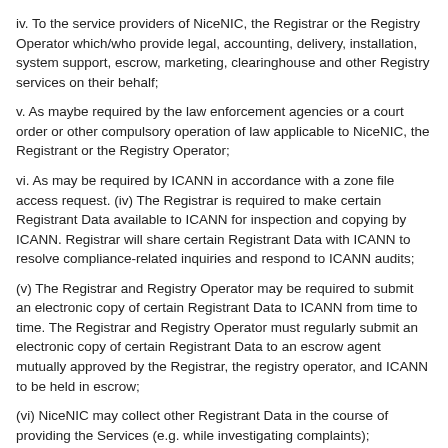iv. To the service providers of NiceNIC, the Registrar or the Registry Operator which/who provide legal, accounting, delivery, installation, system support, escrow, marketing, clearinghouse and other Registry services on their behalf;
v. As maybe required by the law enforcement agencies or a court order or other compulsory operation of law applicable to NiceNIC, the Registrant or the Registry Operator;
vi. As may be required by ICANN in accordance with a zone file access request. (iv) The Registrar is required to make certain Registrant Data available to ICANN for inspection and copying by ICANN. Registrar will share certain Registrant Data with ICANN to resolve compliance-related inquiries and respond to ICANN audits;
(v) The Registrar and Registry Operator may be required to submit an electronic copy of certain Registrant Data to ICANN from time to time. The Registrar and Registry Operator must regularly submit an electronic copy of certain Registrant Data to an escrow agent mutually approved by the Registrar, the registry operator, and ICANN to be held in escrow;
(vi) NiceNIC may collect other Registrant Data in the course of providing the Services (e.g. while investigating complaints);